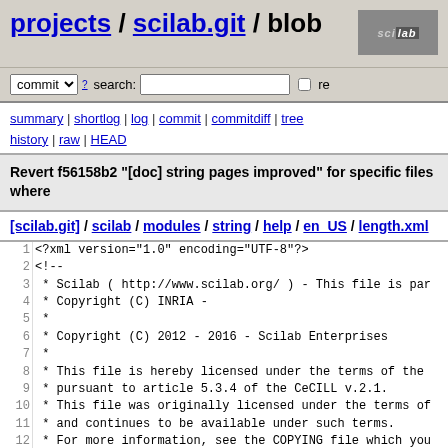projects / scilab.git / blob
commit  search:  re
summary | shortlog | log | commit | commitdiff | tree history | raw | HEAD
Revert f56158b2 "[doc] string pages improved" for specific files where
[scilab.git] / scilab / modules / string / help / en_US / length.xml
1  <?xml version="1.0" encoding="UTF-8"?>
2  <!--
3   * Scilab ( http://www.scilab.org/ ) - This file is par
4   * Copyright (C) INRIA -
5   *
6   * Copyright (C) 2012 - 2016 - Scilab Enterprises
7   *
8   * This file is hereby licensed under the terms of the
9   * pursuant to article 5.3.4 of the CeCILL v.2.1.
10  * This file was originally licensed under the terms of
11  * and continues to be available under such terms.
12  * For more information, see the COPYING file which you
13  * along with this program.
14  *
15  -->